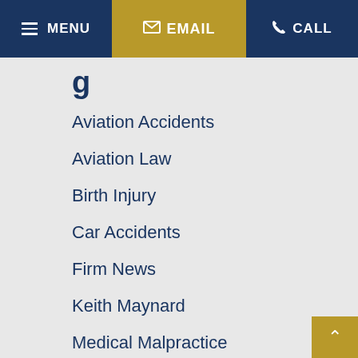MENU | EMAIL | CALL
g
Aviation Accidents
Aviation Law
Birth Injury
Car Accidents
Firm News
Keith Maynard
Medical Malpractice
Motor Vehicle Accidents
Motorcycle Accidents
Nursing Home Abuse
Personal Injury